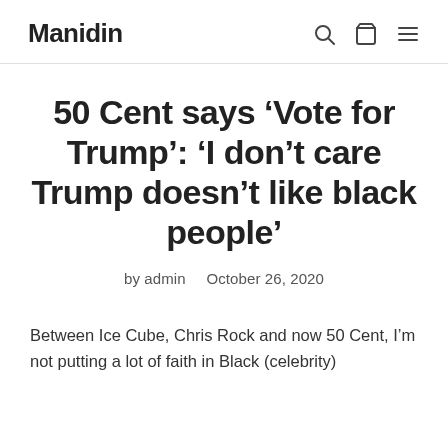Manidin
50 Cent says ‘Vote for Trump’: ‘I don’t care Trump doesn’t like black people’
by admin  October 26, 2020
Between Ice Cube, Chris Rock and now 50 Cent, I’m not putting a lot of faith in Black (celebrity)